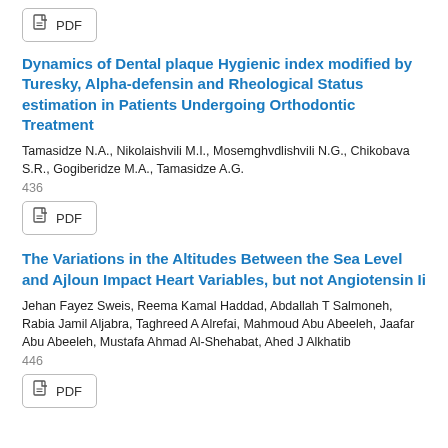[Figure (other): PDF download button at top of page]
Dynamics of Dental plaque Hygienic index modified by Turesky, Alpha-defensin and Rheological Status estimation in Patients Undergoing Orthodontic Treatment
Tamasidze N.A., Nikolaishvili M.I., Mosemghvdlishvili N.G., Chikobava S.R., Gogiberidze M.A., Tamasidze A.G.
436
[Figure (other): PDF download button]
The Variations in the Altitudes Between the Sea Level and Ajloun Impact Heart Variables, but not Angiotensin Ii
Jehan Fayez Sweis, Reema Kamal Haddad, Abdallah T Salmoneh, Rabia Jamil Aljabra, Taghreed A Alrefai, Mahmoud Abu Abeeleh, Jaafar Abu Abeeleh, Mustafa Ahmad Al-Shehabat, Ahed J Alkhatib
446
[Figure (other): PDF download button at bottom of page]